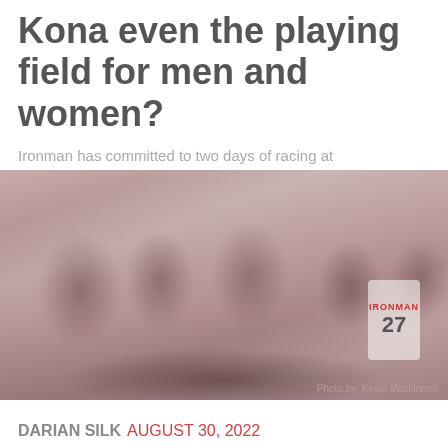Kona even the playing field for men and women?
Ironman has committed to two days of racing at the Ironman World Championship
[Figure (photo): Crowd of Ironman triathlon participants in red swim caps, raising hands and high-fiving before a race start. One person in a blue cap and blue shirt visible in the center. A participant wearing a white Ironman vest with number 27 is visible on the right.]
Photo by: Kevin Mackinnon
DARIAN SILK AUGUST 30, 2022